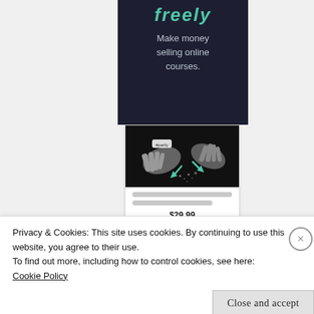[Figure (infographic): Dark navy banner with teal 'freely' title text and subtitle 'Make money selling online courses.']
[Figure (screenshot): Product card showing a grayscale photo of hands with teal arrow graphics, placeholder text lines, and price $29.99]
Privacy & Cookies: This site uses cookies. By continuing to use this website, you agree to their use.
To find out more, including how to control cookies, see here: Cookie Policy
Close and accept